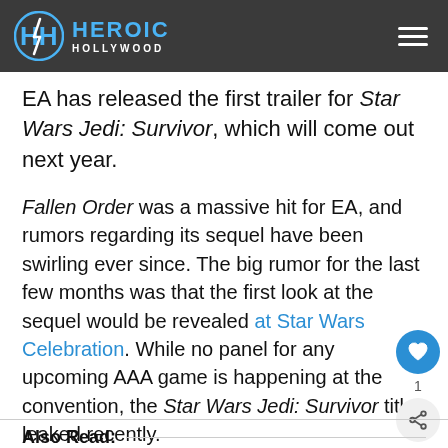Heroic Hollywood
EA has released the first trailer for Star Wars Jedi: Survivor, which will come out next year.
Fallen Order was a massive hit for EA, and rumors regarding its sequel have been swirling ever since. The big rumor for the last few months was that the first look at the sequel would be revealed at Star Wars Celebration. While no panel for any upcoming AAA game is happening at the convention, the Star Wars Jedi: Survivor title leaked recently.
Also Read: